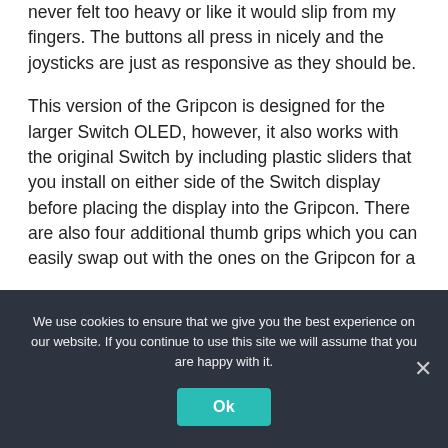never felt too heavy or like it would slip from my fingers. The buttons all press in nicely and the joysticks are just as responsive as they should be.
This version of the Gripcon is designed for the larger Switch OLED, however, it also works with the original Switch by including plastic sliders that you install on either side of the Switch display before placing the display into the Gripcon. There are also four additional thumb grips which you can easily swap out with the ones on the Gripcon for a
We use cookies to ensure that we give you the best experience on our website. If you continue to use this site we will assume that you are happy with it.